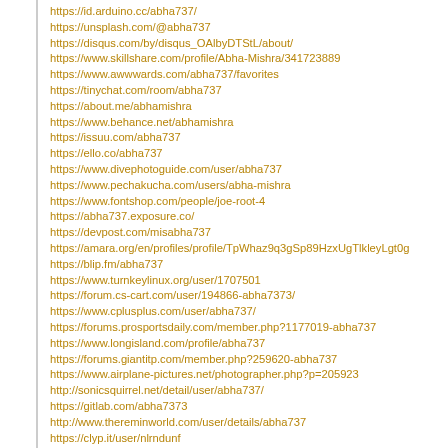https://id.arduino.cc/abha737/
https://unsplash.com/@abha737
https://disqus.com/by/disqus_OAlbyDTStL/about/
https://www.skillshare.com/profile/Abha-Mishra/341723889
https://www.awwwards.com/abha737/favorites
https://tinychat.com/room/abha737
https://about.me/abhamishra
https://www.behance.net/abhamishra
https://issuu.com/abha737
https://ello.co/abha737
https://www.divephotoguide.com/user/abha737
https://www.pechakucha.com/users/abha-mishra
https://www.fontshop.com/people/joe-root-4
https://abha737.exposure.co/
https://devpost.com/misabha737
https://amara.org/en/profiles/profile/TpWhaz9q3gSp89HzxUgTlkleyLgt0g
https://blip.fm/abha737
https://www.turnkeylinux.org/user/1707501
https://forum.cs-cart.com/user/194866-abha7373/
https://www.cplusplus.com/user/abha737/
https://forums.prosportsdaily.com/member.php?1177019-abha737
https://www.longisland.com/profile/abha737
https://forums.giantitp.com/member.php?259620-abha737
https://www.airplane-pictures.net/photographer.php?p=205923
http://sonicsquirrel.net/detail/user/abha737/
https://gitlab.com/abha7373
http://www.thereminworld.com/user/details/abha737
https://clyp.it/user/nlrndunf